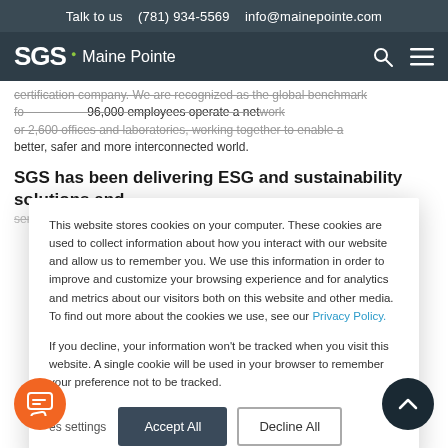Talk to us   (781) 934-5569   info@mainepointe.com
[Figure (logo): SGS Maine Pointe logo with navigation icons (search and menu) on dark background]
certification company. We are recognized as the global benchmark for ...  96,000 employees operate a network or 2,600 offices and laboratories, working together to enable a better, safer and more interconnected world.
SGS has been delivering ESG and sustainability solutions and services to clients for the past 25 years and has been a carbon...
This website stores cookies on your computer. These cookies are used to collect information about how you interact with our website and allow us to remember you. We use this information in order to improve and customize your browsing experience and for analytics and metrics about our visitors both on this website and other media. To find out more about the cookies we use, see our Privacy Policy.
If you decline, your information won't be tracked when you visit this website. A single cookie will be used in your browser to remember your preference not to be tracked.